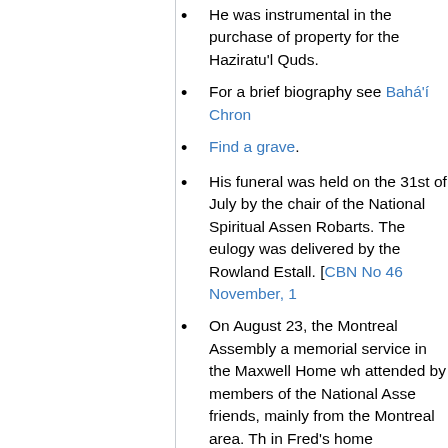He was instrumental in the purchase of property for the Haziratu'l Quds.
For a brief biography see Bahá'í Chron
Find a grave.
His funeral was held on the 31st of July by the chair of the National Spiritual Assen Robarts. The eulogy was delivered by the Rowland Estall. [CBN No 46 November, 1
On August 23, the Montreal Assembly a memorial service in the Maxwell Home wh attended by members of the National Asse friends, mainly from the Montreal area. Th in Fred's home community was intimate an personal. Many people recalled with loving personal associations with Fred, kindly an things he had done in his unobtrusive way hospitality or consideration that they had t sometimes for many years. [CBN No 46 N 1953 Insert]
A memorial service was held in the Tom